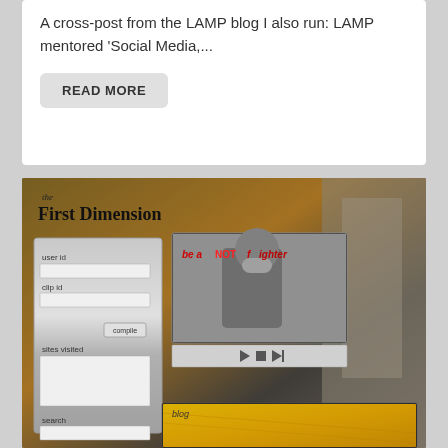A cross-post from the LAMP blog I also run: LAMP mentored 'Social Media,...
READ MORE
[Figure (screenshot): Screenshot of 'the First Dimension' website interface showing user id field, clip id field, compile button, sites visited section, search field, a video player with a black and white video still showing a masked figure, media controls (play, stop, skip), and a blog panel with yellow/orange texture background.]